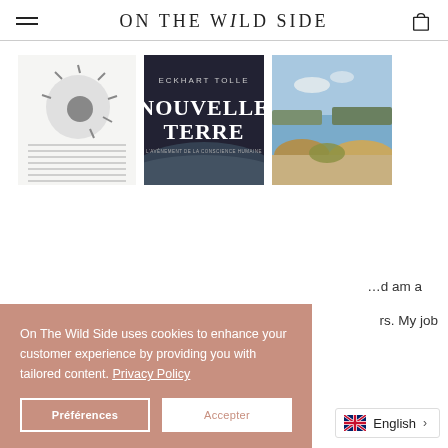ON THE WILD SIDE
[Figure (illustration): Sun and horizontal lines minimalist illustration]
[Figure (photo): Book cover: Eckhart Tolle - Nouvelle Terre]
[Figure (photo): Coastal landscape photo with rocky shores and blue water]
On The Wild Side uses cookies to enhance your customer experience by providing you with tailored content. Privacy Policy
...I am a ...rs. My job
cosmetics of tomorrow.
English